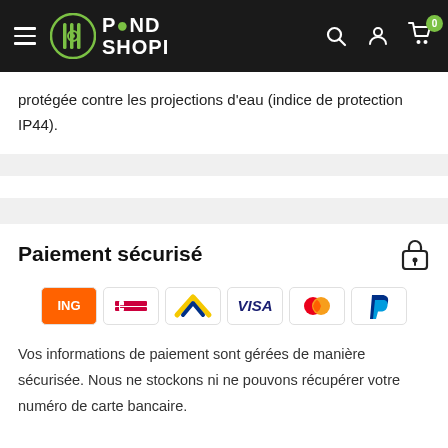PondShopi — navigation header
protégée contre les projections d'eau (indice de protection IP44).
Paiement sécurisé
[Figure (logo): Payment method logos: ING, Bancontact, Belfius, VISA, Mastercard, PayPal]
Vos informations de paiement sont gérées de manière sécurisée. Nous ne stockons ni ne pouvons récupérer votre numéro de carte bancaire.